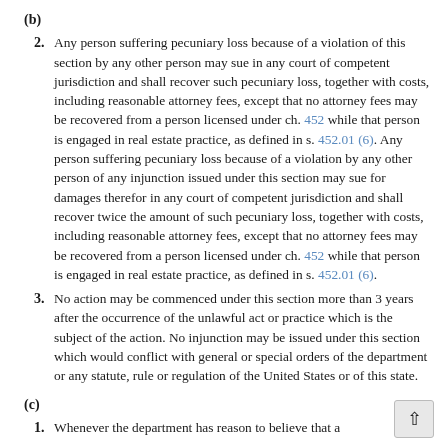(b)
2. Any person suffering pecuniary loss because of a violation of this section by any other person may sue in any court of competent jurisdiction and shall recover such pecuniary loss, together with costs, including reasonable attorney fees, except that no attorney fees may be recovered from a person licensed under ch. 452 while that person is engaged in real estate practice, as defined in s. 452.01 (6). Any person suffering pecuniary loss because of a violation by any other person of any injunction issued under this section may sue for damages therefor in any court of competent jurisdiction and shall recover twice the amount of such pecuniary loss, together with costs, including reasonable attorney fees, except that no attorney fees may be recovered from a person licensed under ch. 452 while that person is engaged in real estate practice, as defined in s. 452.01 (6).
3. No action may be commenced under this section more than 3 years after the occurrence of the unlawful act or practice which is the subject of the action. No injunction may be issued under this section which would conflict with general or special orders of the department or any statute, rule or regulation of the United States or of this state.
(c)
1. Whenever the department has reason to believe that a